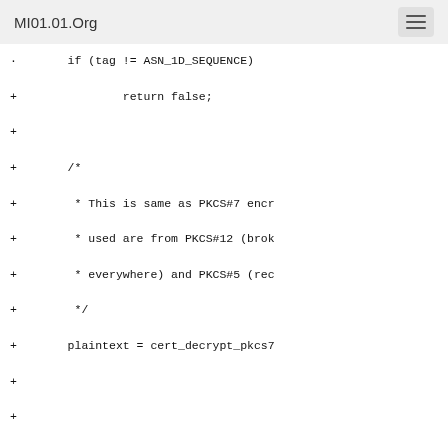MI01.01.Org
+ if (tag != ASN_1D_SEQUENCE)
+         return false;
+
+ /*
+  * This is same as PKCS#7 encr
+  * used are from PKCS#12 (brok
+  * everywhere) and PKCS#5 (rec
+  */
+ plaintext = cert_decrypt_pkcs7
+
+
+
+ if (!plaintext)
+         return false;
+
+ /*
+  * Since we only support PKCS#
+  * types, and there's no point
+  * encryptedData, the plaintex
+  * "data",